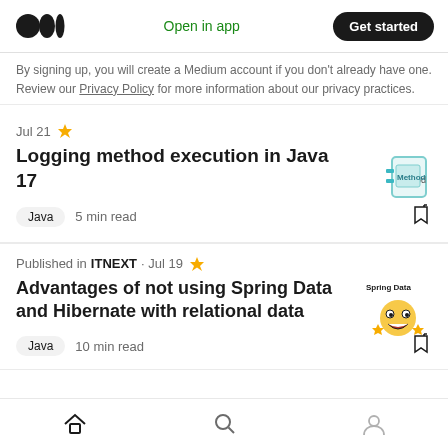Medium logo | Open in app | Get started
By signing up, you will create a Medium account if you don't already have one. Review our Privacy Policy for more information about our privacy practices.
Jul 21 ★
Logging method execution in Java 17
Java  5 min read
Published in ITNEXT · Jul 19 ★
Advantages of not using Spring Data and Hibernate with relational data
Java  10 min read
Home | Search | Profile